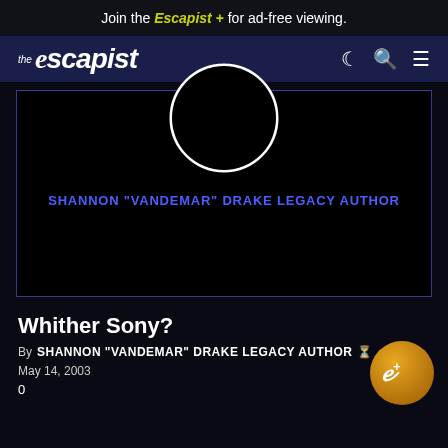Join the Escapist + for ad-free viewing.
[Figure (logo): The Escapist website logo with navigation icons (moon/dark mode, search, menu)]
[Figure (illustration): Author card for Shannon 'Vandemar' Drake Legacy Author with a white circle avatar placeholder on black background, blue border]
Whither Sony?
By SHANNON "VANDEMAR" DRAKE LEGACY AUTHOR  May 14, 2003
0